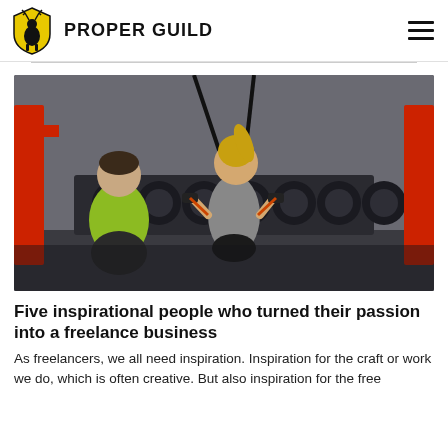PROPER GUILD
[Figure (photo): Two people in a gym doing TRX/suspension training. A man in a yellow-green shirt watches as a woman in a gray tank top leans forward holding suspension straps, with a rack of dumbbells in the background.]
Five inspirational people who turned their passion into a freelance business
As freelancers, we all need inspiration. Inspiration for the craft or work we do, which is often creative. But also inspiration for the free